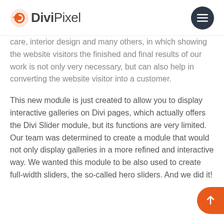DiviPixel
care, interior design and many others, in which showing the website visitors the finished and final results of our work is not only very necessary, but can also help in converting the website visitor into a customer.
This new module is just created to allow you to display interactive galleries on Divi pages, which actually offers the Divi Slider module, but its functions are very limited. Our team was determined to create a module that would not only display galleries in a more refined and interactive way. We wanted this module to be also used to create full-width sliders, the so-called hero sliders. And we did it!